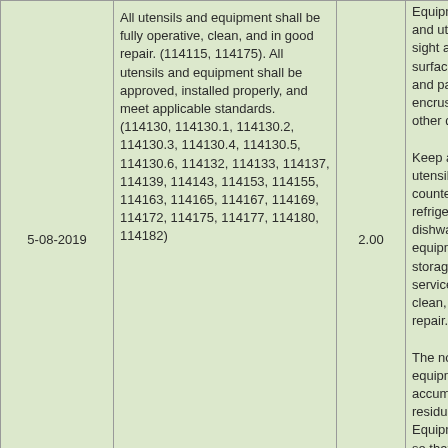| Date | Description | Score | Notes |
| --- | --- | --- | --- |
| 5-08-2019 | All utensils and equipment shall be fully operative, clean, and in good repair. (114115, 114175). All utensils and equipment shall be approved, installed properly, and meet applicable standards. (114130, 114130.1, 114130.2, 114130.3, 114130.4, 114130.5, 114130.6, 114132, 114133, 114137, 114139, 114143, 114153, 114155, 114163, 114165, 114167, 114169, 114172, 114175, 114177, 114180, 114182) | 2.00 | Equipment and utens... sight and... surfaces o... and pans... encrusted... other deb...

Keep all f... utensils, c... counters,... refrigerati... dishwash... equipmen... storage, p... service, a... clean, full... repair.

The non-f... equipmen... accumula... residue, a... Equipmen... so that fo... not conta... |
|  | The potable water supply shall be protected with a backflow or back |  |  |